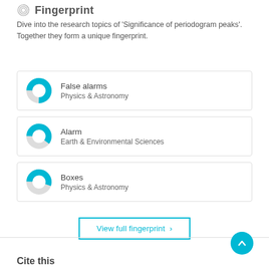Fingerprint
Dive into the research topics of 'Significance of periodogram peaks'. Together they form a unique fingerprint.
[Figure (donut-chart): Donut chart for False alarms, Physics & Astronomy]
False alarms
Physics & Astronomy
[Figure (donut-chart): Donut chart for Alarm, Earth & Environmental Sciences]
Alarm
Earth & Environmental Sciences
[Figure (donut-chart): Donut chart for Boxes, Physics & Astronomy]
Boxes
Physics & Astronomy
View full fingerprint ›
Cite this